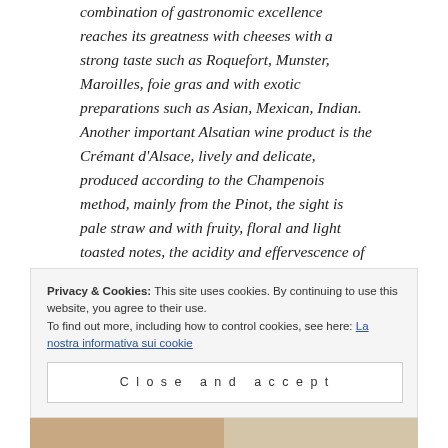combination of gastronomic excellence reaches its greatness with cheeses with a strong taste such as Roquefort, Munster, Maroilles, foie gras and with exotic preparations such as Asian, Mexican, Indian. Another important Alsatian wine product is the Crémant d'Alsace, lively and delicate, produced according to the Champenois method, mainly from the Pinot, the sight is pale straw and with fruity, floral and light toasted notes, the acidity and effervescence of the wine lighten the combination while enriching the persistence. The perfect match is with Camembert President with slices of figs, the typical and
Privacy & Cookies: This site uses cookies. By continuing to use this website, you agree to their use.
To find out more, including how to control cookies, see here: La nostra informativa sui cookie
Close and accept
[Figure (photo): Two partial food/cheese images side by side at the bottom of the page]